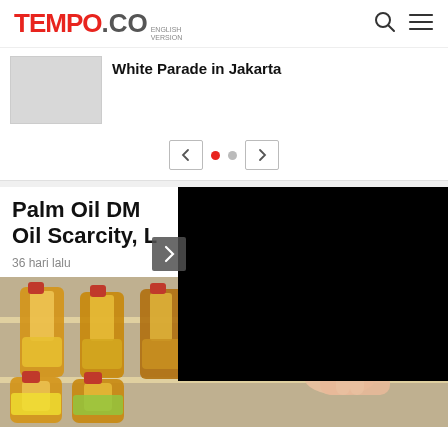TEMPO.CO ENGLISH VERSION
White Parade in Jakarta
[Figure (screenshot): Carousel navigation with previous/next buttons and two dots (one red active, one grey inactive)]
Palm Oil DM... Oil Scarcity, L...
36 hari lalu
[Figure (photo): Cooking oil bottles (palm oil) on supermarket shelves, a hand reaching for a bottle]
[Figure (photo): Black video/image overlay on the right side]